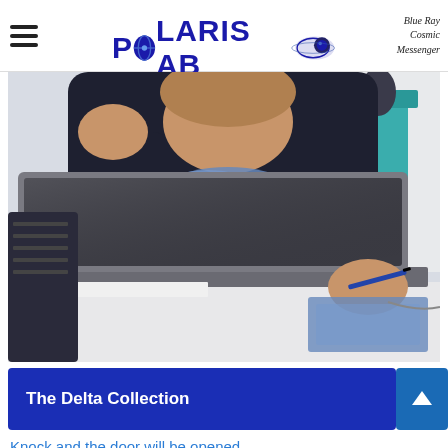POLARIS AB | Blue Ray Cosmic Messenger
[Figure (photo): Person sitting at a table with an open laptop, wearing a dark jacket and blue scarf, holding a pen in right hand. Teal furniture visible in background.]
The Delta Collection
Knock and the door will be opened
Luke 11:9  (11 September 2001 - New York) (9 November 1989 - Berlin) Matthew 7:7  (7 July …Read more